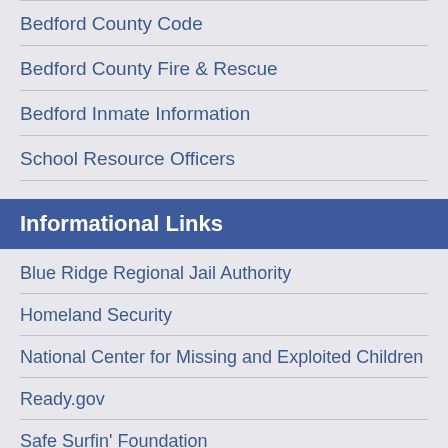Bedford County Code
Bedford County Fire & Rescue
Bedford Inmate Information
School Resource Officers
Informational Links
Blue Ridge Regional Jail Authority
Homeland Security
National Center for Missing and Exploited Children
Ready.gov
Safe Surfin' Foundation
Southern Virginia Internet Crimes Against Children
The Aware Foundation, Inc.
VA Sex Offender Registry
VDOT 511